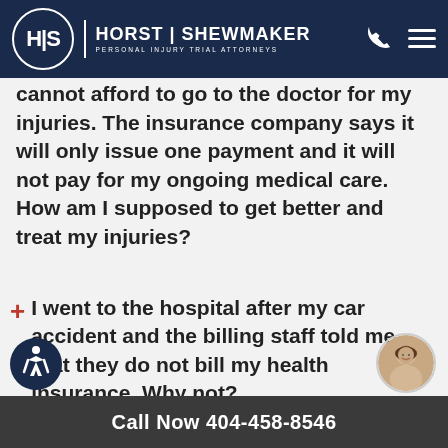HORST | SHEWMAKER PERSONAL INJURY TRIAL ATTORNEYS
cannot afford to go to the doctor for my injuries. The insurance company says it will only issue one payment and it will not pay for my ongoing medical care. How am I supposed to get better and treat my injuries?
I went to the hospital after my car accident and the billing staff told me that they do not bill my health insurance. Why not?
Call Now 404-458-8546